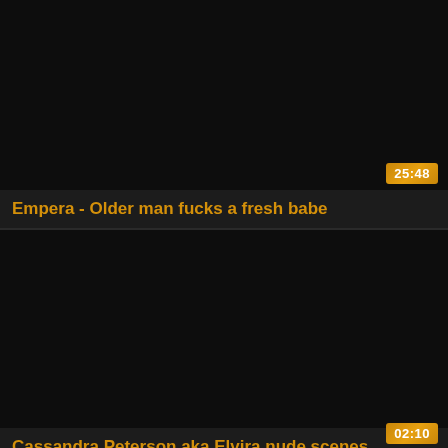[Figure (screenshot): Video thumbnail - dark/black image for 'Empera - Older man fucks a fresh babe', duration 25:48]
Empera - Older man fucks a fresh babe
[Figure (screenshot): Video thumbnail - dark/black image for 'Cassandra Peterson aka Elvira nude scenes compilation', duration 02:10]
Cassandra Peterson aka Elvira nude scenes compilation
[Figure (screenshot): Partial video thumbnail - dark/amber colored image, third video card partially visible]